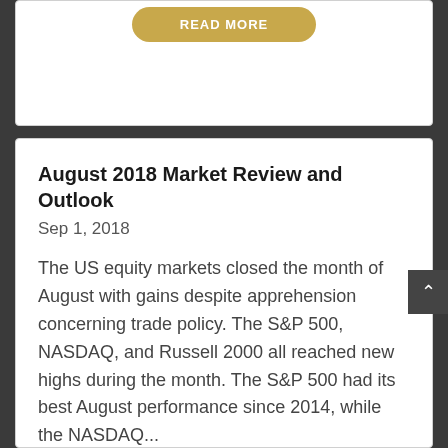[Figure (other): Partial top card with a gold READ MORE button visible at top]
August 2018 Market Review and Outlook
Sep 1, 2018
The US equity markets closed the month of August with gains despite apprehension concerning trade policy. The S&P 500, NASDAQ, and Russell 2000 all reached new highs during the month. The S&P 500 had its best August performance since 2014, while the NASDAQ...
[Figure (other): Gold READ MORE button at bottom of article card]